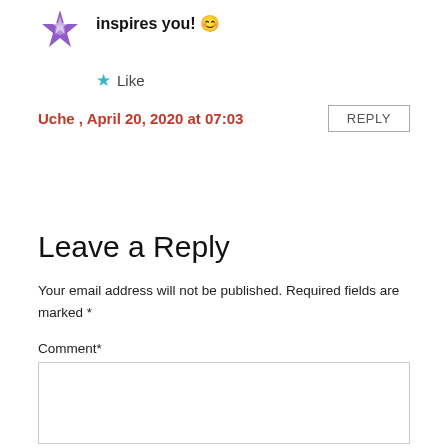inspires you! 😊
★ Like
Uche , April 20, 2020 at 07:03
REPLY
Leave a Reply
Your email address will not be published. Required fields are marked *
Comment*